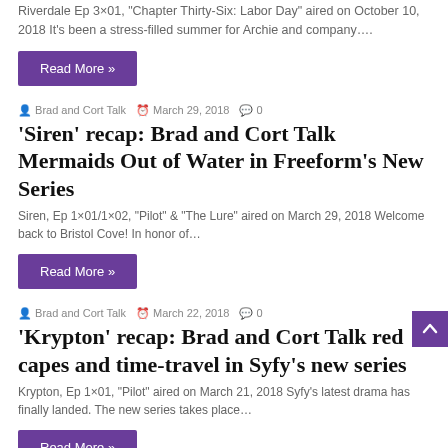Riverdale Ep 3×01, “Chapter Thirty-Six: Labor Day” aired on October 10, 2018 It’s been a stress-filled summer for Archie and company…
Read More »
Brad and Cort Talk   March 29, 2018   0
‘Siren’ recap: Brad and Cort Talk Mermaids Out of Water in Freeform’s New Series
Siren,  Ep 1×01/1×02, “Pilot” & “The Lure” aired on March 29, 2018 Welcome back to Bristol Cove! In honor of…
Read More »
Brad and Cort Talk   March 22, 2018   0
‘Krypton’ recap: Brad and Cort Talk red capes and time-travel in Syfy’s new series
Krypton, Ep 1×01, “Pilot” aired on March 21, 2018 Syfy’s latest drama has finally landed. The new series takes place…
Read More »